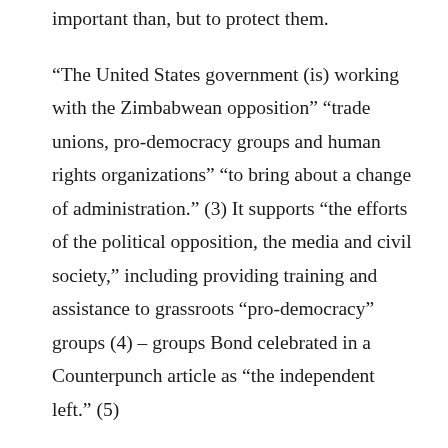important than, but to protect them.
“The United States government (is) working with the Zimbabwean opposition” “trade unions, pro-democracy groups and human rights organizations” “to bring about a change of administration.” (3) It supports “the efforts of the political opposition, the media and civil society,” including providing training and assistance to grassroots “pro-democracy” groups (4) – groups Bond celebrated in a Counterpunch article as “the independent left.” (5)
The US also supports “workshops to develop youth leadership skills necessary to confront social injustice through nonviolent strategies,” (6) a project enlisting the kinds of nonviolent imperialists Stephen Zunes has made a practice of vigorously defending. (7)